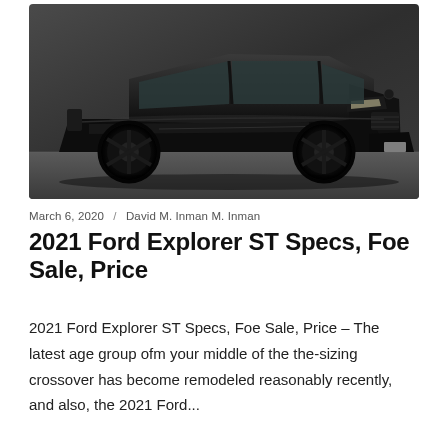[Figure (photo): Black Ford Explorer ST SUV parked in a showroom/garage, side-front angle view, all-black exterior with black wheels]
March 6, 2020 / David M. Inman M. Inman
2021 Ford Explorer ST Specs, Foe Sale, Price
2021 Ford Explorer ST Specs, Foe Sale, Price – The latest age group ofm your middle of the the-sizing crossover has become remodeled reasonably recently, and also, the 2021 Ford...